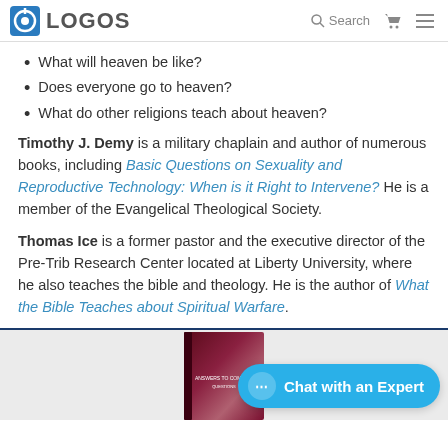LOGOS — Search
What will heaven be like?
Does everyone go to heaven?
What do other religions teach about heaven?
Timothy J. Demy is a military chaplain and author of numerous books, including Basic Questions on Sexuality and Reproductive Technology: When is it Right to Intervene? He is a member of the Evangelical Theological Society.
Thomas Ice is a former pastor and the executive director of the Pre-Trib Research Center located at Liberty University, where he also teaches the bible and theology. He is the author of What the Bible Teaches about Spiritual Warfare.
[Figure (photo): Book cover image partially visible at bottom of page with purple/red gradient cover, title partially visible]